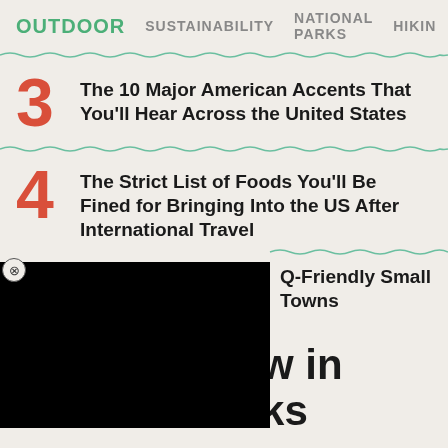OUTDOOR  SUSTAINABILITY  NATIONAL PARKS  HIKING
3 The 10 Major American Accents That You'll Hear Across the United States
4 The Strict List of Foods You'll Be Fined for Bringing Into the US After International Travel
[Figure (other): Black advertisement overlay with close button]
Q-Friendly Small Towns
Trending Now in National Parks